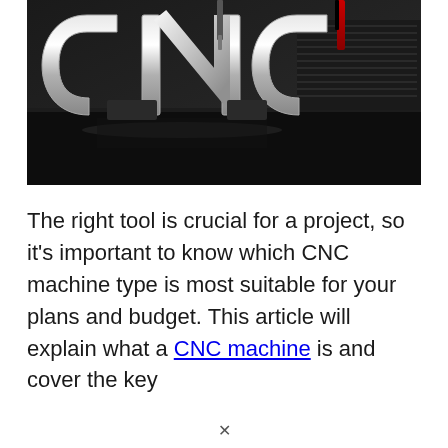[Figure (photo): Shiny chrome metallic CNC letters on a dark reflective surface with machining tools in the background]
The right tool is crucial for a project, so it's important to know which CNC machine type is most suitable for your plans and budget. This article will explain what a CNC machine is and cover the key